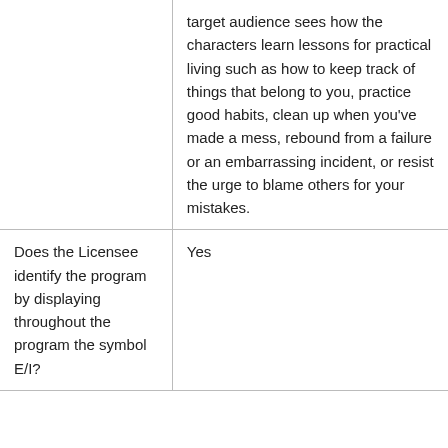|  | target audience sees how the characters learn lessons for practical living such as how to keep track of things that belong to you, practice good habits, clean up when you've made a mess, rebound from a failure or an embarrassing incident, or resist the urge to blame others for your mistakes. |
| Does the Licensee identify the program by displaying throughout the program the symbol E/I? | Yes |